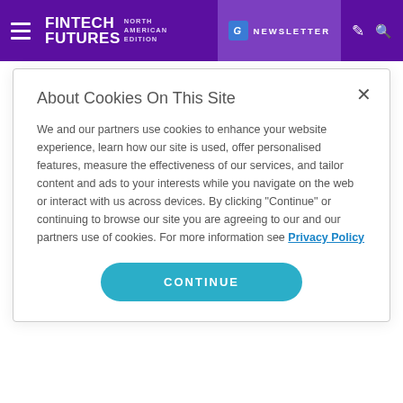FINTECH FUTURES NORTH AMERICAN EDITION | NEWSLETTER
23rd August 2022
With 46.50% CAGR, Neo and Challenger Bank Market Size Worth USD 279.77 Billion by 2028: Comprehensive Research Report by Facts &
About Cookies On This Site
We and our partners use cookies to enhance your website experience, learn how our site is used, offer personalised features, measure the effectiveness of our services, and tailor content and ads to your interests while you navigate on the web or interact with us across devices. By clicking "Continue" or continuing to browse our site you are agreeing to our and our partners use of cookies. For more information see Privacy Policy
CONTINUE